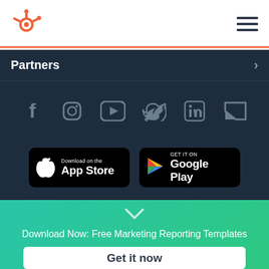[Figure (logo): HubSpot logo (orange sprocket icon) in top left of nav bar]
[Figure (other): Hamburger menu icon (three horizontal lines) in top right of nav bar]
Partners
[Figure (other): Social media icons row: Facebook, Instagram, YouTube, Twitter, LinkedIn, Vimeo/other]
[Figure (other): Download on the App Store button]
[Figure (other): Get it on Google Play button]
Download Now: Free Marketing Reporting Templates
Get it now